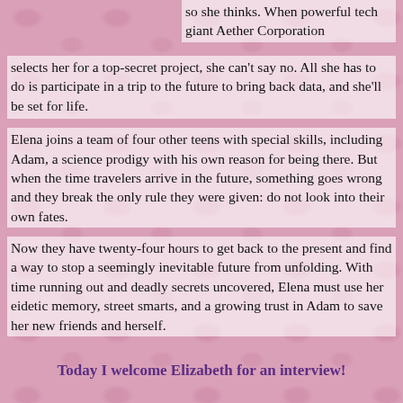so she thinks. When powerful tech giant Aether Corporation selects her for a top-secret project, she can't say no. All she has to do is participate in a trip to the future to bring back data, and she'll be set for life.
Elena joins a team of four other teens with special skills, including Adam, a science prodigy with his own reason for being there. But when the time travelers arrive in the future, something goes wrong and they break the only rule they were given: do not look into their own fates.
Now they have twenty-four hours to get back to the present and find a way to stop a seemingly inevitable future from unfolding. With time running out and deadly secrets uncovered, Elena must use her eidetic memory, street smarts, and a growing trust in Adam to save her new friends and herself.
Today I welcome Elizabeth for an interview!
1. Did you always know you wanted to be a writer or did you want to be something else?